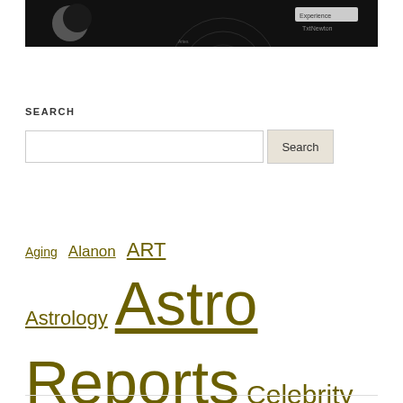[Figure (screenshot): Top portion of a dark/black astrology or celestial chart screenshot with a moon image and interface elements]
SEARCH
Search input box with Search button
Aging  Alanon  ART  Astrology  Astro Reports  Celebrity charts  Cultures  David Bowie  Folklore  Goddesses  Health  Hebrew  Hermeticism  Horoscopes  Inspiration  LOVE  Magick  Music  Nature  Philosophy  Psychology  tarot  Uncategorized